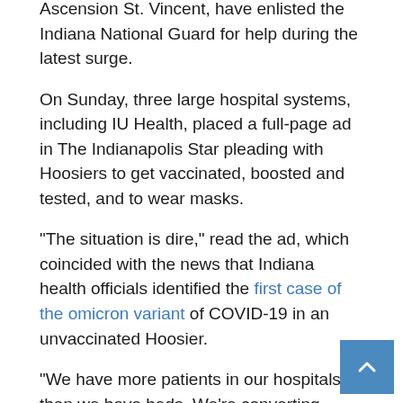Ascension St. Vincent, have enlisted the Indiana National Guard for help during the latest surge.
On Sunday, three large hospital systems, including IU Health, placed a full-page ad in The Indianapolis Star pleading with Hoosiers to get vaccinated, boosted and tested, and to wear masks.
“The situation is dire,” read the ad, which coincided with the news that Indiana health officials identified the first case of the omicron variant of COVID-19 in an unvaccinated Hoosier.
“We have more patients in our hospitals than we have beds. We’re converting available units into critical care wards, just to make room,” the ad said, also stating that health care workers “are exhausted and running out of steam.”
Indiana has the nation’s ninth-lowest COVID-19 vaccination rate for a fully vaccinated population at